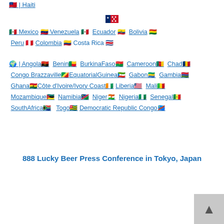🇼🇸 | Haiti
[Figure (other): Flag of Samoa (red background with white stars and blue canton)]
🇲🇽 Mexico 🇻🇪 Venezuela 🇪🇨 Ecuador 🇧🇴 Bolivia 🇵🇪 Peru 🇨🇴 Colombia 🇨🇷 Costa Rica 🇸🇻
🌍 | Angola🇦🇴 Benin🇧🇯 BurkinaFaso🇧🇫 Cameroon🇨🇲 Chad🇹🇩 Congo Brazzaville🇨🇬EquatorialGuinea🇬🇶 Gabon🇬🇦 Gambia🇬🇲 Ghana🇬🇭Côte d'Ivoire/Ivory Coast🇨🇮 Liberia🇱🇷 Mali🇲🇱 Mozambique🇲🇿 Namibia🇳🇦 Niger🇳🇪 Nigeria🇳🇬 Senegal🇸🇳 SouthAfrica🇿🇦 Togo🇹🇬 Democratic Republic Congo🇨🇩
888 Lucky Beer Press Conference in Tokyo, Japan